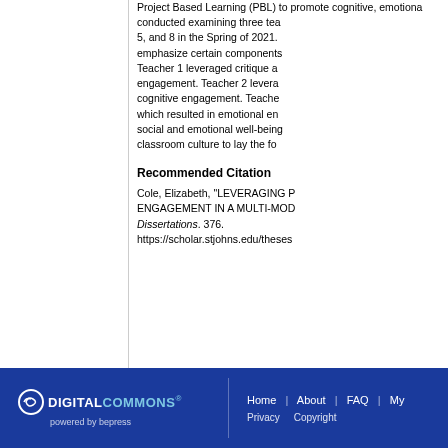Project Based Learning (PBL) to promote cognitive, emotional, conducted examining three tea 5, and 8 in the Spring of 2021. emphasize certain components Teacher 1 leveraged critique a engagement. Teacher 2 levera cognitive engagement. Teache which resulted in emotional en social and emotional well-being classroom culture to lay the fo
Recommended Citation
Cole, Elizabeth, "LEVERAGING P ENGAGEMENT IN A MULTI-MOD Dissertations. 376. https://scholar.stjohns.edu/theses
[Figure (logo): Digital Commons powered by bepress logo in white/light blue on dark blue background]
Home | About | FAQ | My... Privacy Copyright